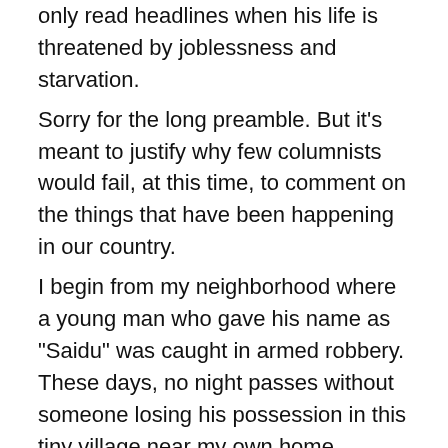only read headlines when his life is threatened by joblessness and starvation. Sorry for the long preamble. But it's meant to justify why few columnists would fail, at this time, to comment on the things that have been happening in our country. I begin from my neighborhood where a young man who gave his name as "Saidu" was caught in armed robbery. These days, no night passes without someone losing his possession in this tiny village near my own home. Clothing items, handsets, motorbikes, goats and chickens had gone missing until Saidu called on Monday night. He was armed with a dagger, but in reality he was a common thief. It was about 3am when he crept quietly into a woman's kitchen and lifted a pot of soup. Then, he collected a sack of garri also. Everybody was asleep, he thought. But because of the heat and mosquitoes that tormented all, one man was still awake and heard Saidu's footsteps. When he raised the alarm, Saidu ran but soon fell down — and that's how he was caught.